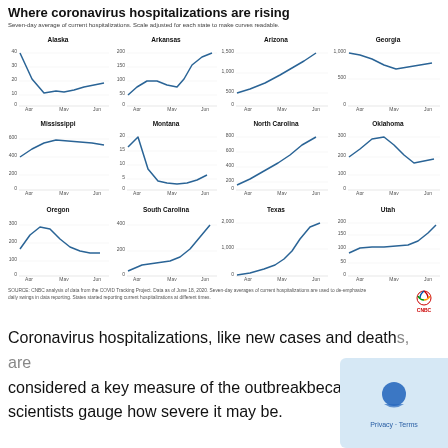Where coronavirus hospitalizations are rising
Seven-day average of current hospitalizations. Scale adjusted for each state to make curves readable.
[Figure (line-chart): Line chart showing Alaska COVID hospitalizations Apr-Jun, peak ~40 in April, dip to ~8 in May, slight rise to ~15 in June]
[Figure (line-chart): Line chart showing Arkansas COVID hospitalizations Apr-Jun, rising sharply in June to ~200]
[Figure (line-chart): Line chart showing Arizona COVID hospitalizations Apr-Jun, rising sharply to ~1500 in June]
[Figure (line-chart): Line chart showing Georgia COVID hospitalizations Apr-Jun, declining from ~1000 in April to ~700 in June]
[Figure (line-chart): Line chart showing Mississippi COVID hospitalizations Apr-Jun, rising to ~650 then slight decline]
[Figure (line-chart): Line chart showing Montana COVID hospitalizations Apr-Jun, peak ~22 in April then declining]
[Figure (line-chart): Line chart showing North Carolina COVID hospitalizations Apr-Jun, steadily rising to ~800]
[Figure (line-chart): Line chart showing Oklahoma COVID hospitalizations Apr-Jun, peak ~300 in May, declining then rising slightly]
[Figure (line-chart): Line chart showing Oregon COVID hospitalizations Apr-Jun, peak ~270 in May then declining to ~130]
[Figure (line-chart): Line chart showing South Carolina COVID hospitalizations Apr-Jun, rising sharply in June to ~450]
[Figure (line-chart): Line chart showing Texas COVID hospitalizations Apr-Jun, rising sharply to ~2000 in June]
[Figure (line-chart): Line chart showing Utah COVID hospitalizations Apr-Jun, relatively flat then rising to ~200]
SOURCE: CNBC analysis of data from the COVID Tracking Project. Data as of June 18, 2020. Seven-day averages of current hospitalizations are used to de-emphasize daily swings in data reporting. States started reporting current hospitalizations at different times.
Coronavirus hospitalizations, like new cases and deaths, are considered a key measure of the outbreak because it helps scientists gauge how severe it may be.